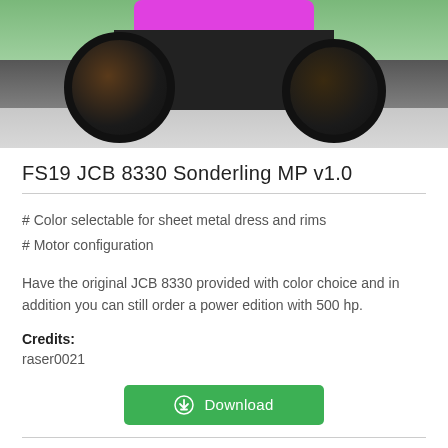[Figure (photo): Screenshot of a pink and black JCB 8330 tractor mod from Farming Simulator 19, shown on a concrete surface with green background]
FS19 JCB 8330 Sonderling MP v1.0
# Color selectable for sheet metal dress and rims
# Motor configuration
Have the original JCB 8330 provided with color choice and in addition you can still order a power edition with 500 hp.
Credits:
raser0021